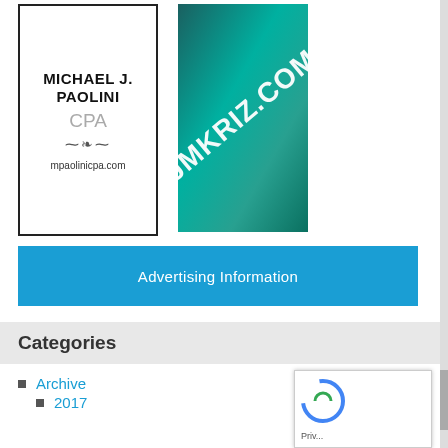[Figure (logo): Michael J. Paolini CPA logo with border, ornamental divider, and website mpaolinicpa.com]
[Figure (logo): JMKRIZ.COM logo on teal/green gradient background with diagonal white text]
Advertising Information
Categories
Archive
2017
2018
2019
2020
2021
2022
Arts and Leisure
Bulletin Board